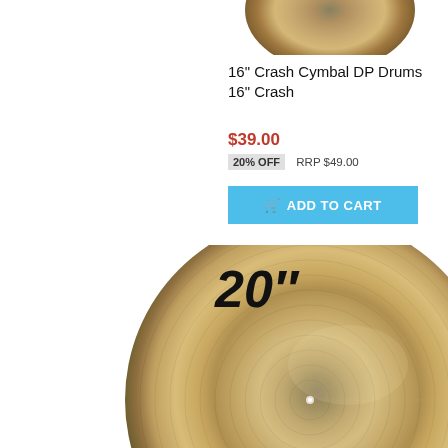[Figure (photo): Top portion of a bronze/gold crash cymbal, partially cropped at top of page]
16" Crash Cymbal DP Drums 16" Crash
$39.00
20% OFF   RRP $49.00
ADD TO CART
[Figure (photo): 20" cymbal - large bronze/gold cymbal shown from above with size label '20"' in bold italic text overlaid on the left side]